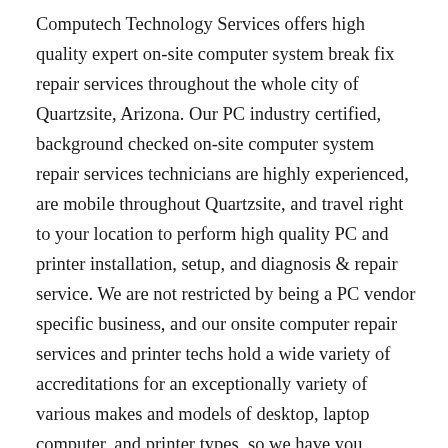Computech Technology Services offers high quality expert on-site computer system break fix repair services throughout the whole city of Quartzsite, Arizona. Our PC industry certified, background checked on-site computer system repair services technicians are highly experienced, are mobile throughout Quartzsite, and travel right to your location to perform high quality PC and printer installation, setup, and diagnosis & repair service. We are not restricted by being a PC vendor specific business, and our onsite computer repair services and printer techs hold a wide variety of accreditations for an exceptionally variety of various makes and models of desktop, laptop computer, and printer types, so we have you covered no matter what your present device type or current configuration. Our technicians are also available to carry out installation, configuration, and complete repair of Point of Sale systems, for all software and hardware makes, models and types. With over